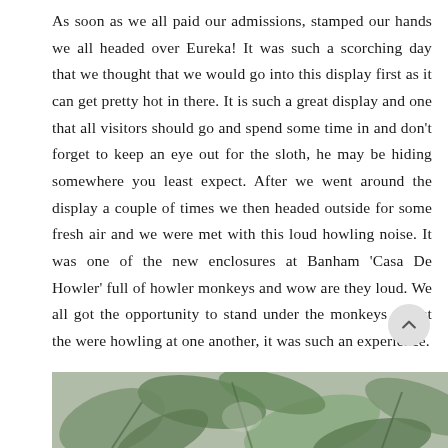As soon as we all paid our admissions, stamped our hands we all headed over Eureka! It was such a scorching day that we thought that we would go into this display first as it can get pretty hot in there. It is such a great display and one that all visitors should go and spend some time in and don't forget to keep an eye out for the sloth, he may be hiding somewhere you least expect. After we went around the display a couple of times we then headed outside for some fresh air and we were met with this loud howling noise. It was one of the new enclosures at Banham 'Casa De Howler' full of howler monkeys and wow are they loud. We all got the opportunity to stand under the monkeys whilst the were howling at one another, it was such an experience.
[Figure (photo): Partial view of a greenhouse or tropical enclosure with green foliage and plants visible at the bottom of the page]